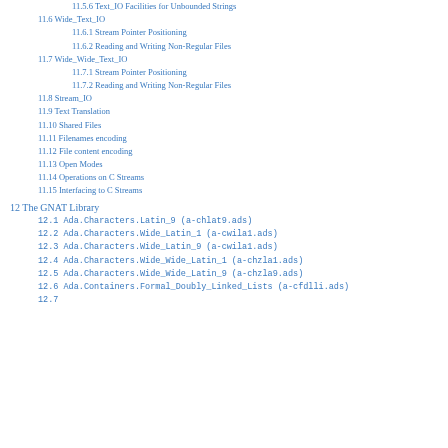11.5.6 Text_IO Facilities for Unbounded Strings
11.6 Wide_Text_IO
11.6.1 Stream Pointer Positioning
11.6.2 Reading and Writing Non-Regular Files
11.7 Wide_Wide_Text_IO
11.7.1 Stream Pointer Positioning
11.7.2 Reading and Writing Non-Regular Files
11.8 Stream_IO
11.9 Text Translation
11.10 Shared Files
11.11 Filenames encoding
11.12 File content encoding
11.13 Open Modes
11.14 Operations on C Streams
11.15 Interfacing to C Streams
12 The GNAT Library
12.1 Ada.Characters.Latin_9 (a-chlat9.ads)
12.2 Ada.Characters.Wide_Latin_1 (a-cwila1.ads)
12.3 Ada.Characters.Wide_Latin_9 (a-cwila1.ads)
12.4 Ada.Characters.Wide_Wide_Latin_1 (a-chzla1.ads)
12.5 Ada.Characters.Wide_Wide_Latin_9 (a-chzla9.ads)
12.6 Ada.Containers.Formal_Doubly_Linked_Lists (a-cfdlli.ads)
12.7 ...